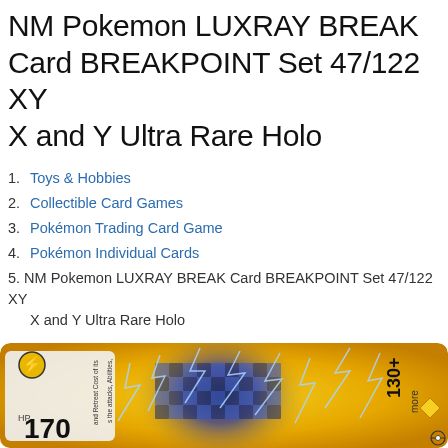NM Pokemon LUXRAY BREAK Card BREAKPOINT Set 47/122 XYX and Y Ultra Rare Holo
Toys & Hobbies
Collectible Card Games
Pokémon Trading Card Game
Pokémon Individual Cards
NM Pokemon LUXRAY BREAK Card BREAKPOINT Set 47/122 XYX and Y Ultra Rare Holo
[Figure (photo): Close-up photograph of the Luxray BREAK Pokémon card showing 170 HP, lightning symbol, and energy attack artwork with blue lightning bolts and golden holographic background, showing 130+ more damage text.]